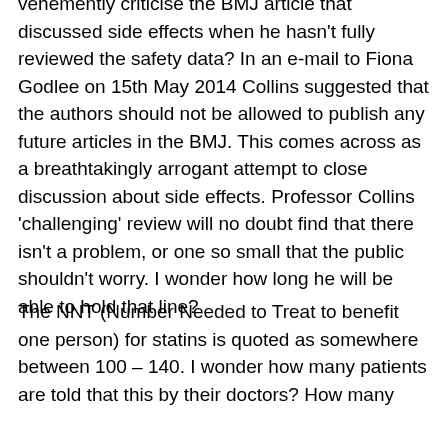vehemently criticise the BMJ article that discussed side effects when he hasn't fully reviewed the safety data? In an e-mail to Fiona Godlee on 15th May 2014 Collins suggested that the authors should not be allowed to publish any future articles in the BMJ. This comes across as a breathtakingly arrogant attempt to close discussion about side effects. Professor Collins 'challenging' review will no doubt find that there isn't a problem, or one so small that the public shouldn't worry. I wonder how long he will be able to hold that line?
The NNT (Number Needed to Treat to benefit one person) for statins is quoted as somewhere between 100 – 140. I wonder how many patients are told that this by their doctors? How many